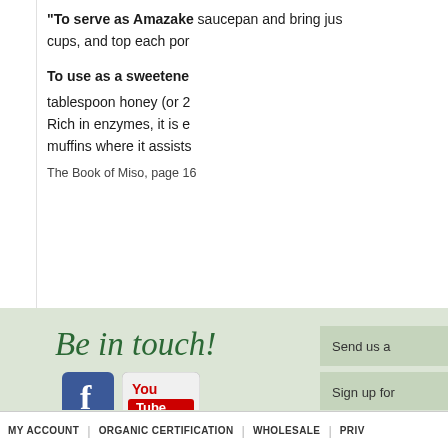"To serve as Amazake saucepan and bring jus cups, and top each por
To use as a sweetener
tablespoon honey (or 2 Rich in enzymes, it is e muffins where it assists
The Book of Miso, page 16
Be in touch!
Send us a
Sign up for
MY ACCOUNT | ORGANIC CERTIFICATION | WHOLESALE | PRIV